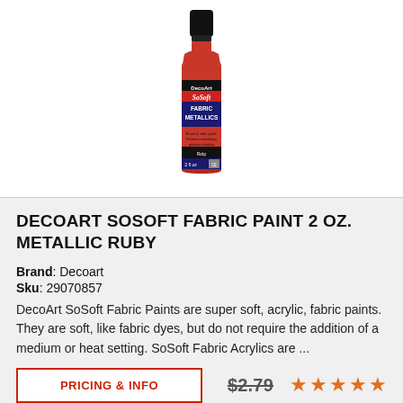[Figure (photo): Product photo of DecoArt SoSoft Fabric Metallics paint bottle, 2 oz, in red/ruby color with black cap and label showing Fabric Metallics branding.]
DECOART SOSOFT FABRIC PAINT 2 OZ. METALLIC RUBY
Brand: Decoart
Sku: 29070857
DecoArt SoSoft Fabric Paints are super soft, acrylic, fabric paints. They are soft, like fabric dyes, but do not require the addition of a medium or heat setting. SoSoft Fabric Acrylics are ...
PRICING & INFO
$2.79
[Figure (illustration): Five orange/red star rating icons]